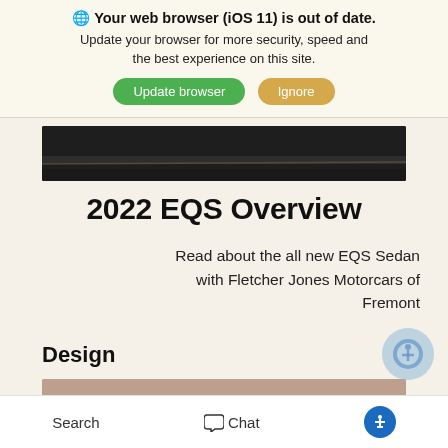Your web browser (iOS 11) is out of date. Update your browser for more security, speed and the best experience on this site.
Update browser | Ignore
[Figure (photo): Dark grey car roof photo strip]
2022 EQS Overview
Read about the all new EQS Sedan with Fletcher Jones Motorcars of Fremont
Design
[Figure (photo): Partial car interior/exterior photo strip at bottom]
Search  Chat  [accessibility icon]